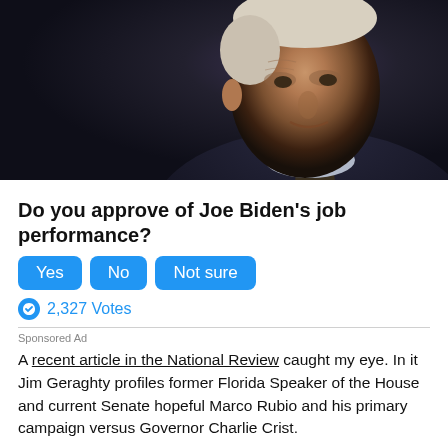[Figure (photo): Portrait photo of Joe Biden against a dark background, wearing a dark suit and tie, looking to the side with a serious expression]
Do you approve of Joe Biden's job performance?
Yes  No  Not sure (interactive poll buttons)
2,327 Votes
Sponsored Ad
A recent article in the National Review caught my eye. In it Jim Geraghty profiles former Florida Speaker of the House and current Senate hopeful Marco Rubio and his primary campaign versus Governor Charlie Crist.